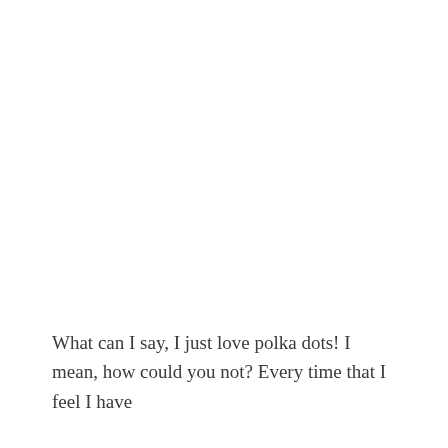What can I say, I just love polka dots! I mean, how could you not? Every time that I feel I have